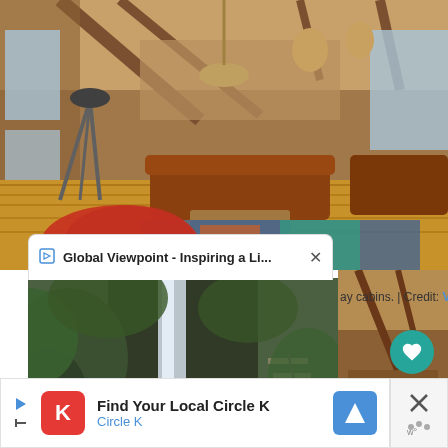[Figure (photo): Interior of a rustic log cabin with high ceilings, exposed wooden beams, leather sofas, a chandelier, telescope on a tripod on the left, mounted deer heads, hardwood floors, and a colorful patterned rug. A red gloved hand is visible in the foreground.]
Global Viewpoint - Inspiring a Li...
[Figure (photo): A waterfall cascading down a rocky cliff surrounded by lush green moss and vegetation, with rocky stream bed below and stone steps visible on the right side.]
ay cabins. | Credit: VRBO
[Figure (photo): Partial view of rustic log cabin interior showing wooden walls and ceiling beams.]
14
Find Your Local Circle K
Circle K